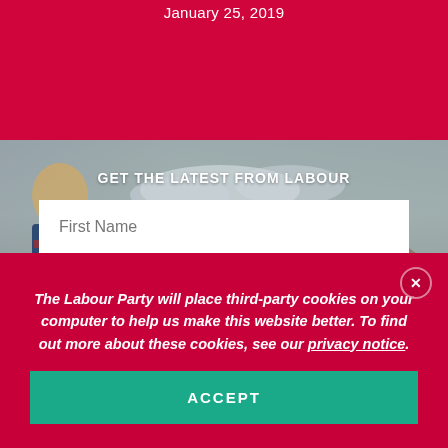January 25, 2019
[Figure (photo): Background photo of people outdoors with trees and cloudy sky, overlaid with email signup form]
GET THE LATEST FROM LABOUR
First Name
Email Address
The Labour Party will place third-party cookies on your computer to help us make this website better. To find out more about these cookies, see our privacy notice.
ACCEPT